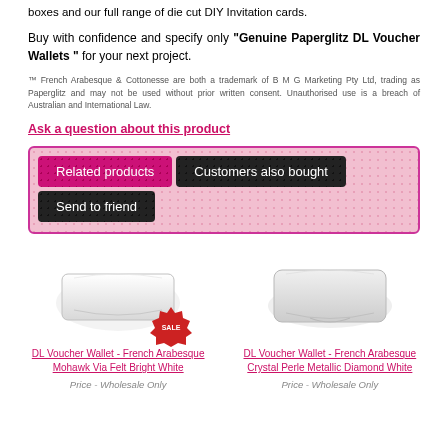boxes and our full range of die cut DIY Invitation cards.
Buy with confidence and specify only "Genuine Paperglitz DL Voucher Wallets " for your next project.
™ French Arabesque & Cottonesse are both a trademark of B M G Marketing Pty Ltd, trading as Paperglitz and may not be used without prior written consent. Unauthorised use is a breach of Australian and International Law.
Ask a question about this product
[Figure (other): Tab navigation with three buttons: 'Related products' (magenta), 'Customers also bought' (black), 'Send to friend' (black), on a pink diamond-pattern background]
[Figure (photo): Two product images: left shows a white DL Voucher Wallet with SALE badge, right shows another white DL Voucher Wallet. Below each image are product titles and price labels.]